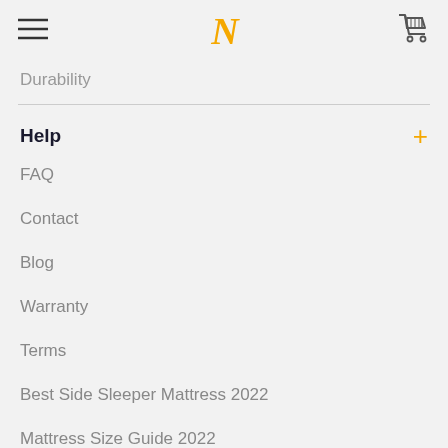N
Durability
Help
FAQ
Contact
Blog
Warranty
Terms
Best Side Sleeper Mattress 2022
Mattress Size Guide 2022
Mattress Buying Guide 2022
Side Sleeping Guide 2022
Sleep Position Guide 2022